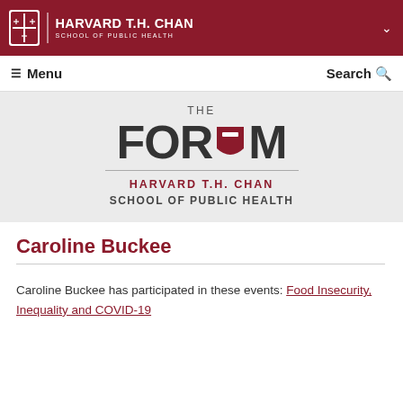HARVARD T.H. CHAN SCHOOL OF PUBLIC HEALTH
[Figure (logo): The Forum at Harvard T.H. Chan School of Public Health logo]
Caroline Buckee
Caroline Buckee has participated in these events: Food Insecurity, Inequality and COVID-19